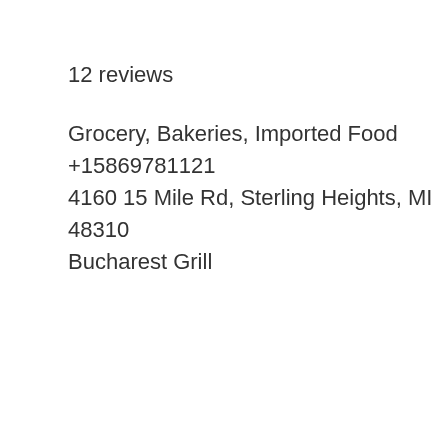12 reviews
Grocery, Bakeries, Imported Food
+15869781121
4160 15 Mile Rd, Sterling Heights, MI 48310
Bucharest Grill